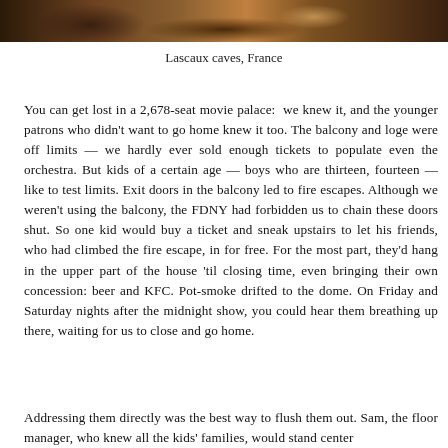[Figure (photo): Dark photograph showing cave interior or dim atmospheric scene, appears to be Lascaux caves]
Lascaux caves, France
You can get lost in a 2,678-seat movie palace:  we knew it, and the younger patrons who didn't want to go home knew it too. The balcony and loge were off limits — we hardly ever sold enough tickets to populate even the orchestra. But kids of a certain age — boys who are thirteen, fourteen — like to test limits. Exit doors in the balcony led to fire escapes. Although we weren't using the balcony, the FDNY had forbidden us to chain these doors shut. So one kid would buy a ticket and sneak upstairs to let his friends, who had climbed the fire escape, in for free. For the most part, they'd hang in the upper part of the house 'til closing time, even bringing their own concession: beer and KFC. Pot-smoke drifted to the dome. On Friday and Saturday nights after the midnight show, you could hear them breathing up there, waiting for us to close and go home.
Addressing them directly was the best way to flush them out. Sam, the floor manager, who knew all the kids' families, would stand center